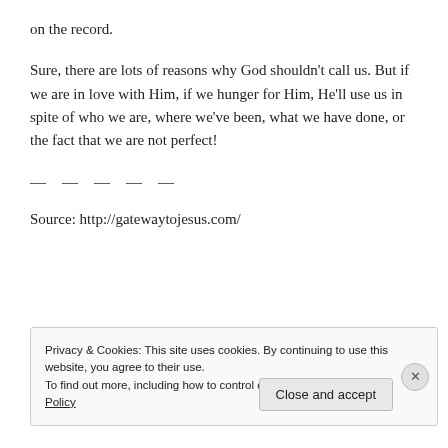on the record.
Sure, there are lots of reasons why God shouldn’t call us. But if we are in love with Him, if we hunger for Him, He’ll use us in spite of who we are, where we’ve been, what we have done, or the fact that we are not perfect!
—————
Source: http://gatewaytojesus.com/
Privacy & Cookies: This site uses cookies. By continuing to use this website, you agree to their use.
To find out more, including how to control cookies, see here: Cookie Policy
Close and accept